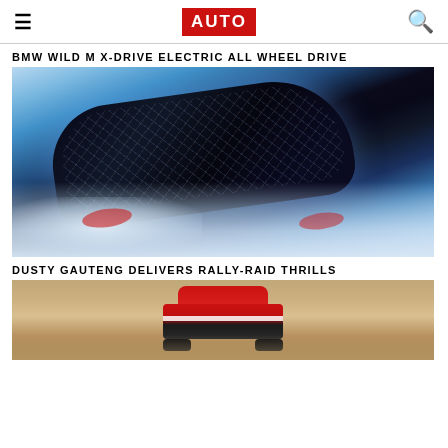AUTO
BMW WILD M X-DRIVE ELECTRIC ALL WHEEL DRIVE
[Figure (photo): BMW electric sports car with circuit-board camouflage wrap doing a smoky burnout/drift on a track, surrounded by white tire smoke, with blue and white light effects on the body]
DUSTY GAUTENG DELIVERS RALLY-RAID THRILLS
[Figure (photo): Rally-raid vehicle with red and black livery driving in dusty Gauteng conditions, photographed from a slightly elevated front angle]